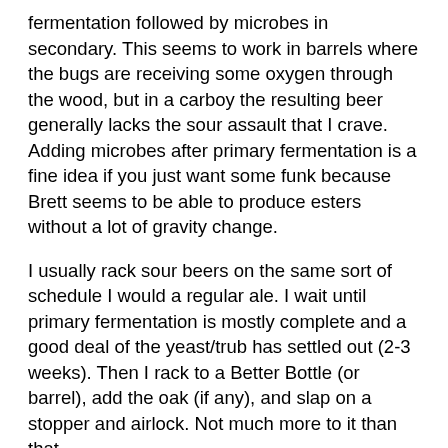fermentation followed by microbes in secondary. This seems to work in barrels where the bugs are receiving some oxygen through the wood, but in a carboy the resulting beer generally lacks the sour assault that I crave. Adding microbes after primary fermentation is a fine idea if you just want some funk because Brett seems to be able to produce esters without a lot of gravity change.
I usually rack sour beers on the same sort of schedule I would a regular ale. I wait until primary fermentation is mostly complete and a good deal of the yeast/trub has settled out (2-3 weeks). Then I rack to a Better Bottle (or barrel), add the oak (if any), and slap on a stopper and airlock. Not much more to it than that.
If after 6 months or so the beer still has not shown any signs of souring I will often add the dregs from a few more bottles or sour beers to try to kick things off. As a last resort I may also add some malt extract to feed the microbes.
I would save ambient fermentation for after you get a good number of sours going. I have not tried it, so for the time